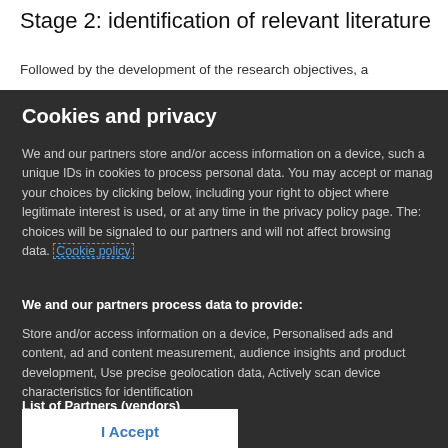Stage 2: identification of relevant literature
Followed by the development of the research objectives, a
Cookies and privacy
We and our partners store and/or access information on a device, such a unique IDs in cookies to process personal data. You may accept or manage your choices by clicking below, including your right to object where legitimate interest is used, or at any time in the privacy policy page. These choices will be signaled to our partners and will not affect browsing data. Cookie policy
We and our partners process data to provide:
Store and/or access information on a device, Personalised ads and content, ad and content measurement, audience insights and product development, Use precise geolocation data, Actively scan device characteristics for identification
List of Partners (vendors)
I Accept